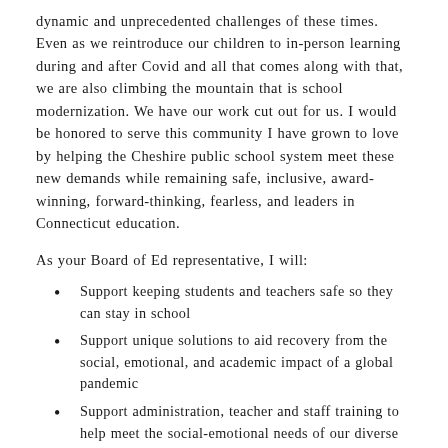dynamic and unprecedented challenges of these times. Even as we reintroduce our children to in-person learning during and after Covid and all that comes along with that, we are also climbing the mountain that is school modernization. We have our work cut out for us. I would be honored to serve this community I have grown to love by helping the Cheshire public school system meet these new demands while remaining safe, inclusive, award-winning, forward-thinking, fearless, and leaders in Connecticut education.
As your Board of Ed representative, I will:
Support keeping students and teachers safe so they can stay in school
Support unique solutions to aid recovery from the social, emotional, and academic impact of a global pandemic
Support administration, teacher and staff training to help meet the social-emotional needs of our diverse 21st century students